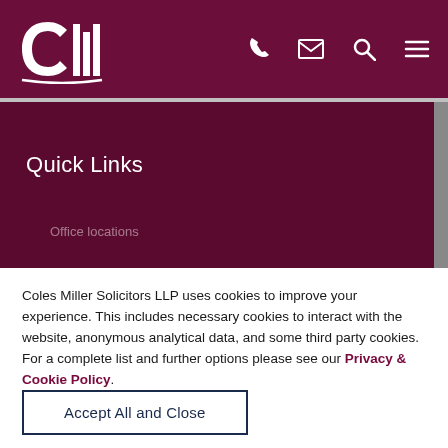Coles Miller Solicitors LLP — website header with logo and navigation icons (phone, email, search, menu)
Quick Links
(partially visible list item)
Coles Miller Solicitors LLP uses cookies to improve your experience. This includes necessary cookies to interact with the website, anonymous analytical data, and some third party cookies. For a complete list and further options please see our Privacy & Cookie Policy.
Accept All and Close